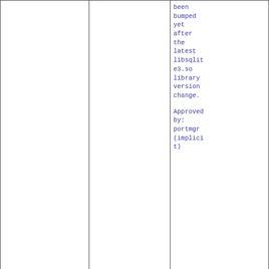| Date/Version | Author | Description |
| --- | --- | --- |
|  |  | been bumped yet after the latest libsqlite3.so library version change.

Approved by: portmgr (implicit) |
| 08 Oct 2013 13:29:28  1.7.0 | theraven | Fix the pkg-plist for performance. Update sqlclient to the latest version. |
| 20 Sep 2013 16:13:49 | bapt | Add |